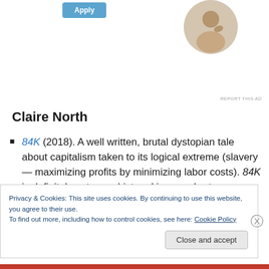[Figure (photo): Screenshot of a webpage showing an ad with an Apply button and a circular profile photo of a person, with a 'REPORT THIS AD' link in small gray text]
Claire North
84K (2018). A well written, brutal dystopian tale about capitalism taken to its logical extreme (slavery — maximizing profits by minimizing labor costs). 84K is definitely not anarchist and is very short on solutions, but it does provide a gut-wrenching depiction of the
Privacy & Cookies: This site uses cookies. By continuing to use this website, you agree to their use.
To find out more, including how to control cookies, see here: Cookie Policy
Close and accept